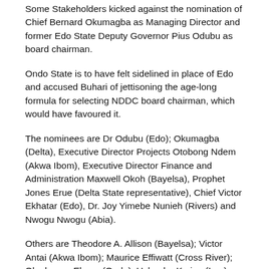Some Stakeholders kicked against the nomination of Chief Bernard Okumagba as Managing Director and former Edo State Deputy Governor Pius Odubu as board chairman.
Ondo State is to have felt sidelined in place of Edo and accused Buhari of jettisoning the age-long formula for selecting NDDC board chairman, which would have favoured it.
The nominees are Dr Odubu (Edo); Okumagba (Delta), Executive Director Projects Otobong Ndem (Akwa Ibom), Executive Director Finance and Administration Maxwell Okoh (Bayelsa), Prophet Jones Erue (Delta State representative), Chief Victor Ekhatar (Edo), Dr. Joy Yimebe Nunieh (Rivers) and Nwogu Nwogu (Abia).
Others are Theodore A. Allison (Bayelsa); Victor Antai (Akwa Ibom); Maurice Effiwatt (Cross River); Olugbonga Eloma (Ondo); Uchegbu Kyrian (Imo);